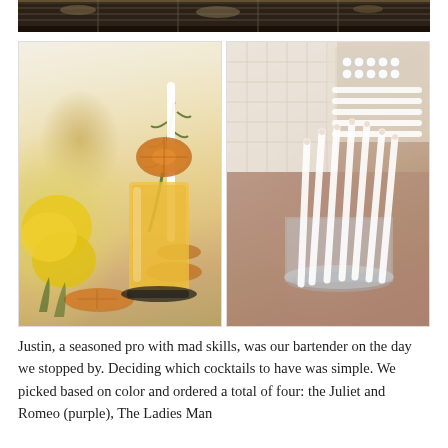[Figure (photo): Top portion of a bar scene photo, dark metallic bar equipment visible at the top]
[Figure (photo): Two side-by-side photos: left shows a tall yellow/orange cocktail garnished with dried citrus and herbs with lemons in the background; right shows white paper straws in a clear glass container on a mauve/brick colored surface]
Justin, a seasoned pro with mad skills, was our bartender on the day we stopped by. Deciding which cocktails to have was simple. We picked based on color and ordered a total of four: the Juliet and Romeo (purple), The Ladies Man (pink), The Silk Milkshake (orange), and The Good Night Martini...